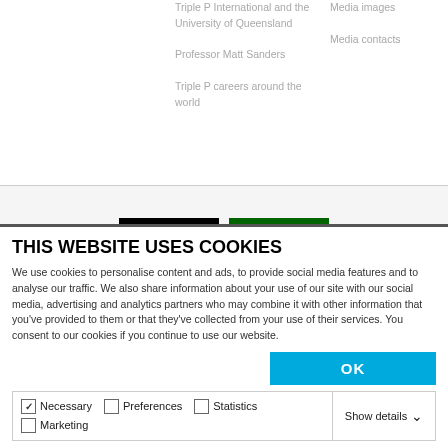Triple P International and the University of Queensland
Media images
Media contacts
Professor Matt Sanders
Triple P careers around the world
[Figure (illustration): Australian Aboriginal Flag and Torres Strait Islander Flag side by side]
THIS WEBSITE USES COOKIES
We use cookies to personalise content and ads, to provide social media features and to analyse our traffic. We also share information about your use of our site with our social media, advertising and analytics partners who may combine it with other information that you've provided to them or that they've collected from your use of their services. You consent to our cookies if you continue to use our website.
OK
Necessary  Preferences  Statistics  Marketing  Show details